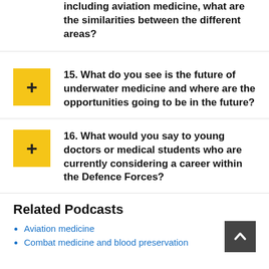including aviation medicine, what are the similarities between the different areas?
15. What do you see is the future of underwater medicine and where are the opportunities going to be in the future?
16. What would you say to young doctors or medical students who are currently considering a career within the Defence Forces?
Related Podcasts
Aviation medicine
Combat medicine and blood preservation